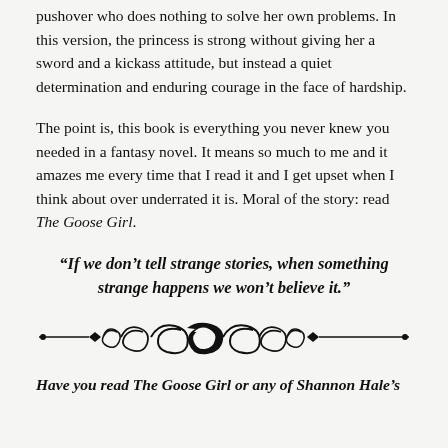pushover who does nothing to solve her own problems. In this version, the princess is strong without giving her a sword and a kickass attitude, but instead a quiet determination and enduring courage in the face of hardship.
The point is, this book is everything you never knew you needed in a fantasy novel. It means so much to me and it amazes me every time that I read it and I get upset when I think about over underrated it is. Moral of the story: read The Goose Girl.
“If we don’t tell strange stories, when something strange happens we won’t believe it.”
[Figure (illustration): Decorative ornamental divider with scrollwork and floral motifs in black]
Have you read The Goose Girl or any of Shannon Hale’s